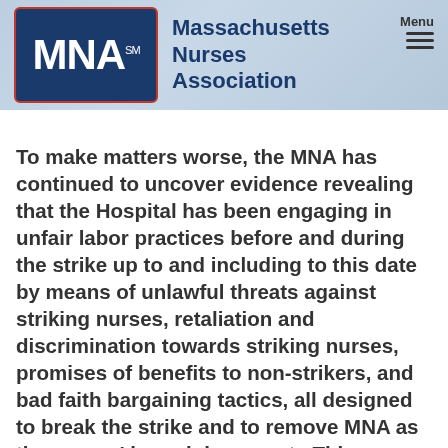[Figure (logo): Massachusetts Nurses Association (MNA) logo with blue rectangle containing white MNA text, and organization name in blue text to the right]
To make matters worse, the MNA has continued to uncover evidence revealing that the Hospital has been engaging in unfair labor practices before and during the strike up to and including to this date by means of unlawful threats against striking nurses, retaliation and discrimination towards striking nurses, promises of benefits to non-strikers, and bad faith bargaining tactics, all designed to break the strike and to remove MNA as the nurses' bargaining agent. This conduct has greatly disturbed the nurses, who are now demanding that any return-to-work agreement must also include resolution of